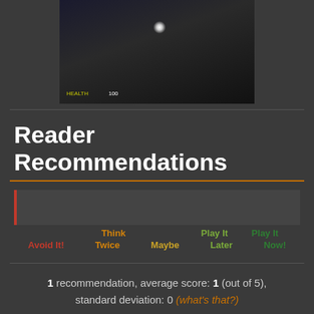[Figure (screenshot): Dark video game screenshot showing a robotic/mechanical enemy in a dim environment with a glowing light above, HUD elements visible at the bottom left.]
Reader Recommendations
[Figure (bar-chart): A near-empty bar chart with a red left border and no filled bars, showing recommendation scale from Avoid It! to Play It Now!]
1 recommendation, average score: 1 (out of 5), standard deviation: 0 (what's that?)